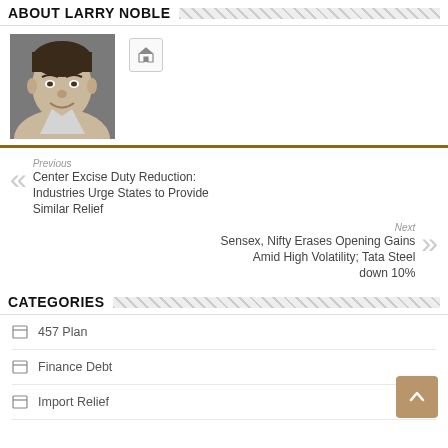ABOUT LARRY NOBLE
[Figure (photo): Headshot photo of Larry Noble, a man with short dark hair, smiling, wearing a light-colored shirt.]
Previous
Center Excise Duty Reduction: Industries Urge States to Provide Similar Relief
Next
Sensex, Nifty Erases Opening Gains Amid High Volatility; Tata Steel down 10%
CATEGORIES
457 Plan
Finance Debt
Import Relief